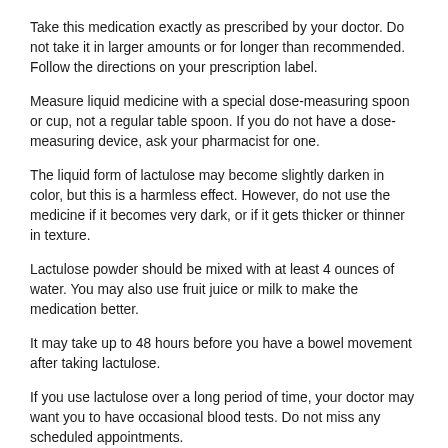Take this medication exactly as prescribed by your doctor. Do not take it in larger amounts or for longer than recommended. Follow the directions on your prescription label.
Measure liquid medicine with a special dose-measuring spoon or cup, not a regular table spoon. If you do not have a dose-measuring device, ask your pharmacist for one.
The liquid form of lactulose may become slightly darken in color, but this is a harmless effect. However, do not use the medicine if it becomes very dark, or if it gets thicker or thinner in texture.
Lactulose powder should be mixed with at least 4 ounces of water. You may also use fruit juice or milk to make the medication better.
It may take up to 48 hours before you have a bowel movement after taking lactulose.
If you use lactulose over a long period of time, your doctor may want you to have occasional blood tests. Do not miss any scheduled appointments.
If you missed a dose - take the missed dose as soon as you remember. If it is almost time for your next dose, wait until then to take the medicine and skip the missed dose. Do not take extra medicine to make up the missed dose.